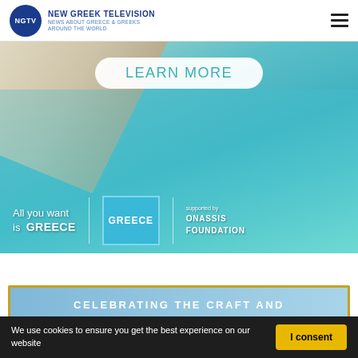NGTV NEW GREEK TELEVISION NEWS ABOUT GREECE & GREEKS AROUND THE WORLD
[Figure (photo): Aerial view of a Greek beach with turquoise water and rocky shore, featuring 'LEARN MORE' pill button, 'All you want is GREECE' tagline, Greece tourism logo box, and Onassis Foundation sponsorship text]
[Figure (photo): Partial image of a card with golden border and blue background with text 'CELEBRATING THE CRAFT AND']
We use cookies to ensure you get the best experience on our website
I consent